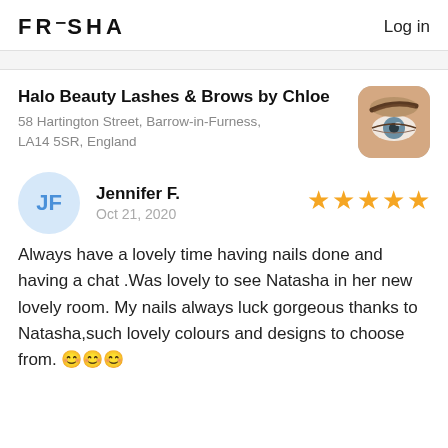FRESHA   Log in
Halo Beauty Lashes & Brows by Chloe
58 Hartington Street, Barrow-in-Furness, LA14 5SR, England
[Figure (photo): Close-up photo of an eye and eyebrow, business profile image for Halo Beauty Lashes & Brows by Chloe]
Jennifer F.
Oct 21, 2020
5 stars
Always have a lovely time having nails done and having a chat .Was lovely to see Natasha in her new lovely room. My nails always luck gorgeous thanks to Natasha,such lovely colours and designs to choose from. 😊😊😊